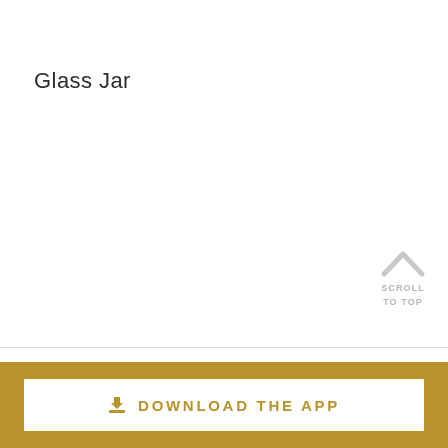Glass Jar
[Figure (other): Scroll to top button with upward chevron arrow and text SCROLL TO TOP in light gray]
FILTER BY
DOWNLOAD THE APP